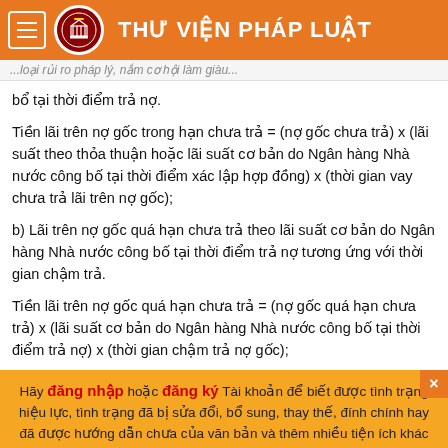THƯ VIỆN PHÁP LUẬT
...loại rủi ro pháp lý, nắm cơ hội làm giàu...
bổ tại thời điểm trả nợ.
Tiền lãi trên nợ gốc trong hạn chưa trả = (nợ gốc chưa trả) x (lãi suất theo thỏa thuận hoặc lãi suất cơ bản do Ngân hàng Nhà nước công bố tại thời điểm xác lập hợp đồng) x (thời gian vay chưa trả lãi trên nợ gốc);
b) Lãi trên nợ gốc quá hạn chưa trả theo lãi suất cơ bản do Ngân hàng Nhà nước công bố tại thời điểm trả nợ tương ứng với thời gian chậm trả.
Tiền lãi trên nợ gốc quá hạn chưa trả = (nợ gốc quá hạn chưa trả) x (lãi suất cơ bản do Ngân hàng Nhà nước công bố tại thời điểm trả nợ) x (thời gian chậm trả nợ gốc);
3. Khi xác định lãi, lãi suất theo hướng dẫn tại khoản 1 và khoản 2 Điều này, Tòa án không được tính lãi trên nợ lãi chưa trả.
Hãy đăng nhập hoặc đăng ký Tài khoản để biết được tình trạng hiệu lực, tình trạng đã bị sửa đổi, bổ sung, thay thế, đính chính hay đã được hướng dẫn chưa của văn bản và thêm nhiều tiện ích khác